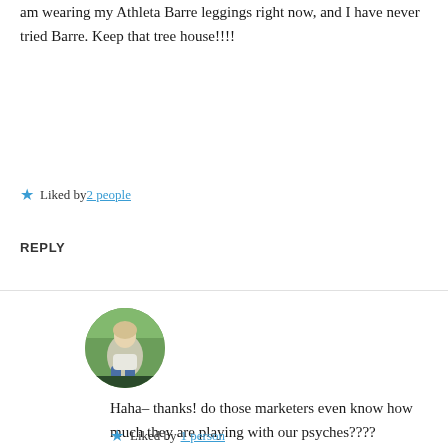am wearing my Athleta Barre leggings right now, and I have never tried Barre. Keep that tree house!!!!
Liked by 2 people
REPLY
[Figure (photo): Circular avatar photo of a person sitting outdoors with greenery in the background]
Haha– thanks! do those marketers even know how much they are playing with our psyches????
Liked by 1 person